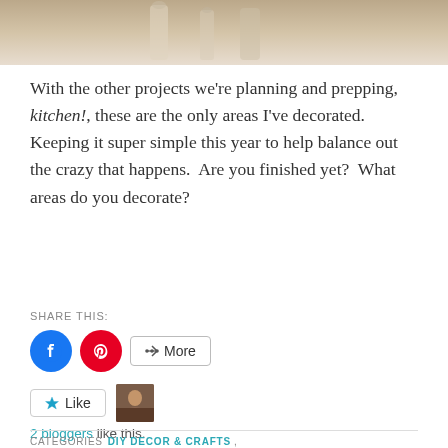[Figure (photo): Cropped photo showing glass bottles or vases on a light background, partially visible at top of page]
With the other projects we're planning and prepping, kitchen!, these are the only areas I've decorated.  Keeping it super simple this year to help balance out the crazy that happens.  Are you finished yet?  What areas do you decorate?
SHARE THIS:
[Figure (infographic): Share buttons: Facebook (blue circle), Pinterest (red circle), More (bordered button with share icon)]
[Figure (infographic): Like button with star icon and a blogger avatar thumbnail]
2 bloggers like this.
CATEGORIES  DIY DECOR & CRAFTS,  SEASONAL & HOLIDAY DECORATING